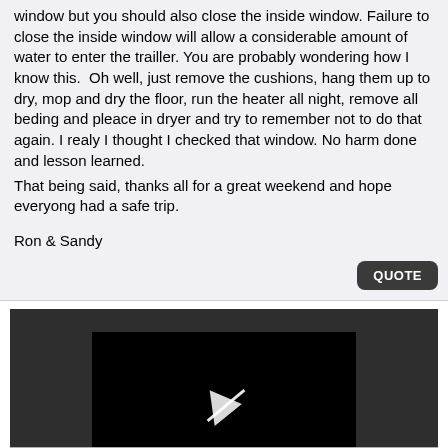window but you should also close the inside window. Failure to close the inside window will allow a considerable amount of water to enter the trailler. You are probably wondering how I know this. Oh well, just remove the cushions, hang them up to dry, mop and dry the floor, run the heater all night, remove all beding and pleace in dryer and try to remember not to do that again. I realy I thought I checked that window. No harm done and lesson learned.
That being said, thanks all for a great weekend and hope everyong had a safe trip.

Ron & Sandy
[Figure (screenshot): Video player showing a broken/unplayable video with a crossed-out play button icon. An error overlay reads: 'The video cannot be played in this browser. (Error Code: 242632)' with a close (x) button.]